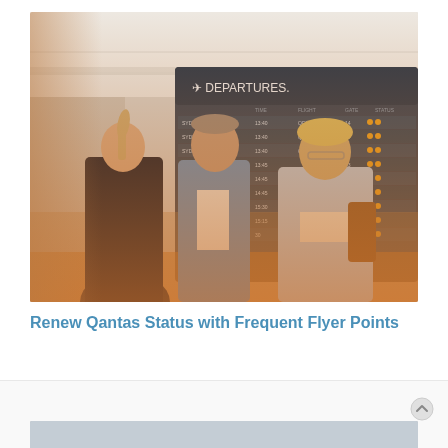[Figure (photo): Three people in a modern airport or hotel lobby. A woman with a ponytail in a dark jacket faces away from camera; a man in a blue blazer and white shirt smiles; an older blonde woman in a light blue blouse holds a paper/document. Behind them is a large departures board showing flight information with yellow status indicators.]
Renew Qantas Status with Frequent Flyer Points